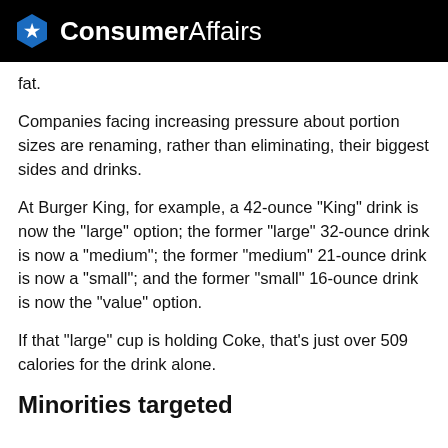ConsumerAffairs
fat.
Companies facing increasing pressure about portion sizes are renaming, rather than eliminating, their biggest sides and drinks.
At Burger King, for example, a 42-ounce "King" drink is now the "large" option; the former "large" 32-ounce drink is now a "medium"; the former "medium" 21-ounce drink is now a "small"; and the former "small" 16-ounce drink is now the "value" option.
If that "large" cup is holding Coke, that's just over 509 calories for the drink alone.
Minorities targeted